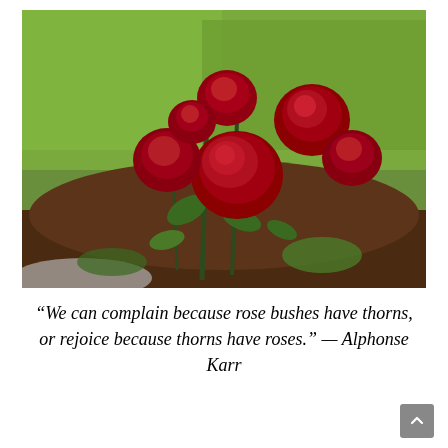[Figure (photo): A rose bush with several large red roses in bloom, planted in a mulched garden bed surrounded by green grass.]
“We can complain because rose bushes have thorns, or rejoice because thorns have roses.” — Alphonse Karr